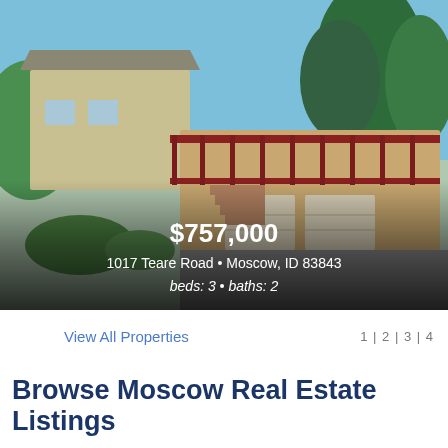[Figure (photo): Exterior photo of a multi-level residential home with wood siding, a large deck with red railings, stairs leading to a two-car garage, surrounded by green trees and bushes under a blue sky.]
$757,000
1017 Teare Road • Moscow, ID 83843
beds: 3 • baths: 2
View All Properties
1 | 2 | 3 | 4
Browse Moscow Real Estate Listings